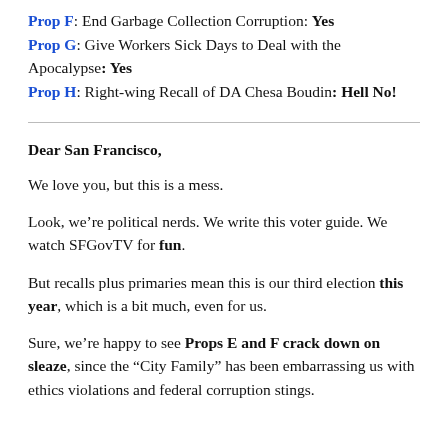Prop F: End Garbage Collection Corruption: Yes
Prop G: Give Workers Sick Days to Deal with the Apocalypse: Yes
Prop H: Right-wing Recall of DA Chesa Boudin: Hell No!
Dear San Francisco,
We love you, but this is a mess.
Look, we're political nerds. We write this voter guide. We watch SFGovTV for fun.
But recalls plus primaries mean this is our third election this year, which is a bit much, even for us.
Sure, we're happy to see Props E and F crack down on sleaze, since the “City Family” has been embarrassing us with ethics violations and federal corruption stings.